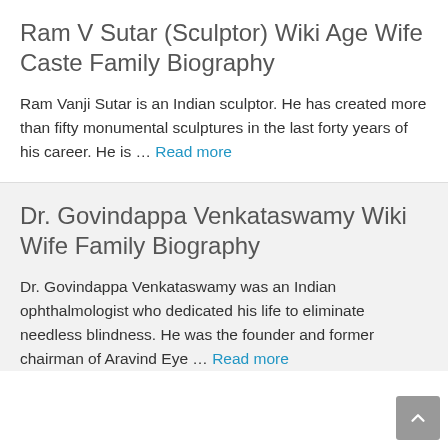Ram V Sutar (Sculptor) Wiki Age Wife Caste Family Biography
Ram Vanji Sutar is an Indian sculptor. He has created more than fifty monumental sculptures in the last forty years of his career. He is … Read more
Dr. Govindappa Venkataswamy Wiki Wife Family Biography
Dr. Govindappa Venkataswamy was an Indian ophthalmologist who dedicated his life to eliminate needless blindness. He was the founder and former chairman of Aravind Eye … Read more